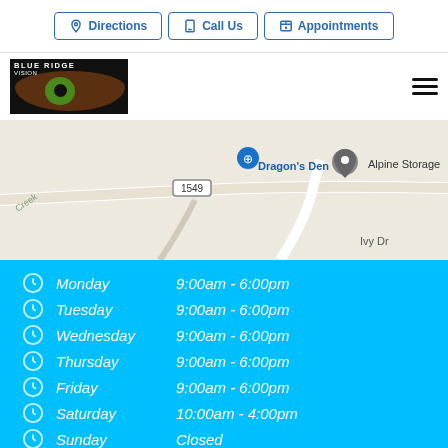Directions | Call Us | Appointments
[Figure (logo): Blue Ridge Vision logo with eye image]
[Figure (map): Google Maps strip showing Dragon's Den, Alpine Storage, road 1549, Ivy Dr]
Monday  9:00am - 6:00pm
Tuesday  9:00am - 6:00pm
Wednesday  9:00am - 6:00pm
Thursday  9:00am - 6:00pm
Friday  9:00am - 6:00pm
Saturday  10:00am - 4:00pm
Sunday  Closed